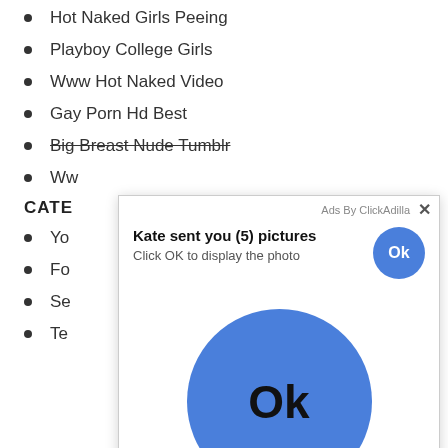Hot Naked Girls Peeing
Playboy College Girls
Www Hot Naked Video
Gay Porn Hd Best
Big Breast Nude Tumblr
Ww…
CATE…
Yo…
Fo…
Se…
Te…
[Figure (screenshot): Ad popup overlay from ClickAdilla showing 'Kate sent you (5) pictures' with 'Click OK to display the photo' text, a small blue Ok button, and a large blue Ok circle button below.]